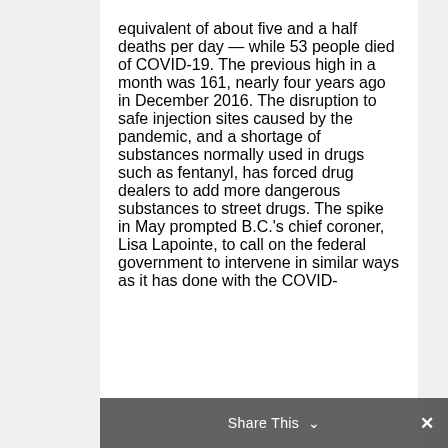equivalent of about five and a half deaths per day — while 53 people died of COVID-19. The previous high in a month was 161, nearly four years ago in December 2016. The disruption to safe injection sites caused by the pandemic, and a shortage of substances normally used in drugs such as fentanyl, has forced drug dealers to add more dangerous substances to street drugs. The spike in May prompted B.C.'s chief coroner, Lisa Lapointe, to call on the federal government to intervene in similar ways as it has done with the COVID-
Share This ∨  ✕